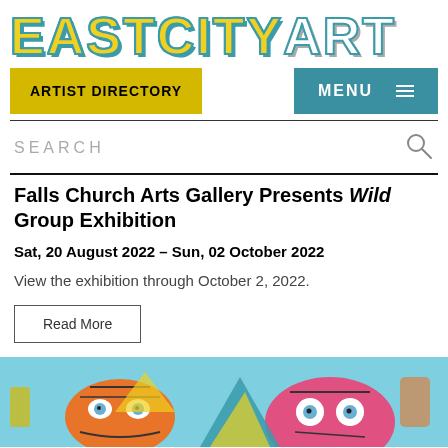EASTCITYART
ARTIST DIRECTORY
MENU
SEARCH
Falls Church Arts Gallery Presents Wild Group Exhibition
Sat, 20 August 2022 – Sun, 02 October 2022
View the exhibition through October 2, 2022.
Read More
[Figure (photo): Colorful abstract artwork showing stylized faces/masks with bold outlines on a light blue background, viewed from above at a gallery or studio setting.]